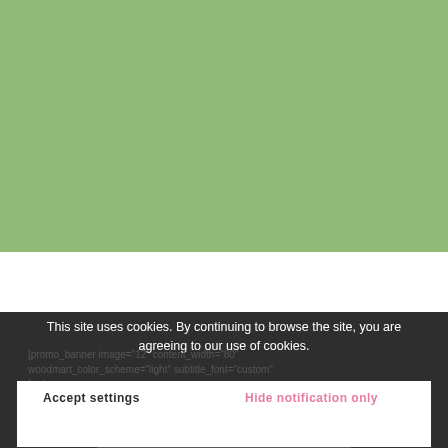[Figure (other): Green rectangular banner/background area occupying the top portion of the page]
[promo_banner image="12" content_width="80" woodmart_color_scheme="light" subtitle_font="custom" font_we img_size title_desktop_text_size= xt_size="22" title_mobile_text_size= custom_title_ olor="#3a88cb"]Three
This site uses cookies. By continuing to browse the site, you are agreeing to our use of cookies.
Accept settings
Hide notification only
Einstellungen